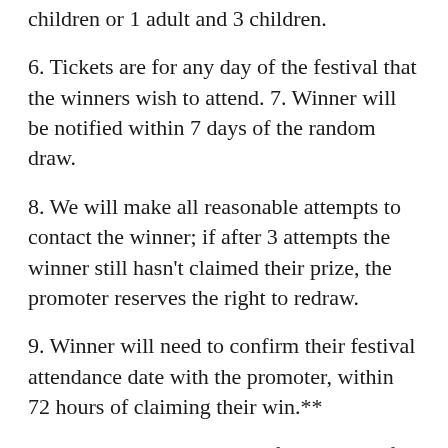children or 1 adult and 3 children.
6. Tickets are for any day of the festival that the winners wish to attend. 7. Winner will be notified within 7 days of the random draw.
8. We will make all reasonable attempts to contact the winner; if after 3 attempts the winner still hasn't claimed their prize, the promoter reserves the right to redraw.
9. Winner will need to confirm their festival attendance date with the promoter, within 72 hours of claiming their win.**
10. No last minute changes for number of guests or attendance date, unless authorised by